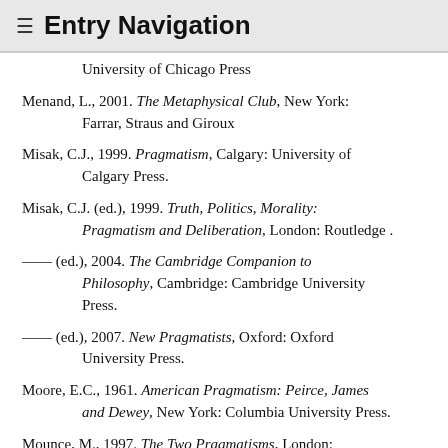≡ Entry Navigation
University of Chicago Press
Menand, L., 2001. The Metaphysical Club, New York: Farrar, Straus and Giroux
Misak, C.J., 1999. Pragmatism, Calgary: University of Calgary Press.
Misak, C.J. (ed.), 1999. Truth, Politics, Morality: Pragmatism and Deliberation, London: Routledge .
— (ed.), 2004. The Cambridge Companion to Philosophy, Cambridge: Cambridge University Press.
— (ed.), 2007. New Pragmatists, Oxford: Oxford University Press.
Moore, E.C., 1961. American Pragmatism: Peirce, James and Dewey, New York: Columbia University Press.
Mounce, M., 1997. The Two Pragmatisms, London: Routledge
Murphey, M.G., 2005. C.I. Lewis: the Last Great ...